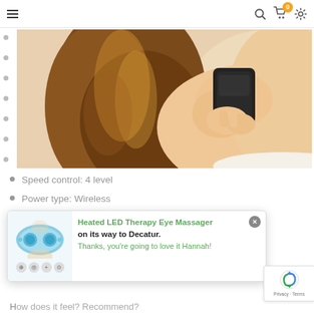Navigation bar with hamburger menu, search icon, cart (0 items), settings icon
[Figure (photo): Woman with long brown hair applying a black handheld massager device to her shoulder/neck area, viewed from behind/side]
Speed control: 4 level
Power type: Wireless
Certification: CE
Feature: LED display
[Figure (screenshot): Popup notification showing Heated LED Therapy Eye Massager product image with text: on its way to Decatur. Thanks, you're going to love it Hannah!]
[Figure (logo): Google reCAPTCHA badge with Privacy and Terms links]